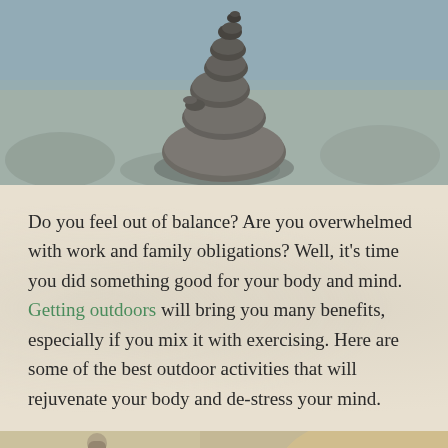[Figure (photo): Stacked balanced stones/rocks cairn with blurred rocky background, zen/balance concept photo]
Do you feel out of balance? Are you overwhelmed with work and family obligations? Well, it's time you did something good for your body and mind. Getting outdoors will bring you many benefits, especially if you mix it with exercising. Here are some of the best outdoor activities that will rejuvenate your body and de-stress your mind.
[Figure (photo): Partial view of outdoor nature photo at the bottom of the page, blurred warm-toned background]